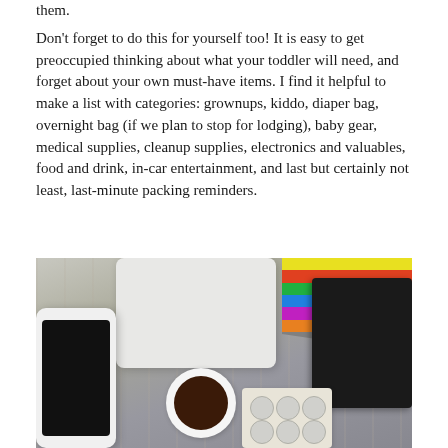them.
Don't forget to do this for yourself too! It is easy to get preoccupied thinking about what your toddler will need, and forget about your own must-have items. I find it helpful to make a list with categories: grownups, kiddo, diaper bag, overnight bag (if we plan to stop for lodging), baby gear, medical supplies, cleanup supplies, electronics and valuables, food and drink, in-car entertainment, and last but certainly not least, last-minute packing reminders.
[Figure (photo): Flat lay photo on a wooden surface showing travel/packing items: a white bag, colored pencils/straws, a black wallet, a smartphone with black screen, a white cup of coffee, and a blister pack of pills/tablets.]